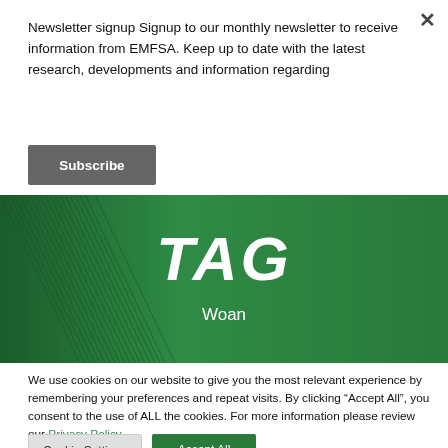Newsletter signup Signup to our monthly newsletter to receive information from EMFSA. Keep up to date with the latest research, developments and information regarding
Subscribe
[Figure (illustration): Green banner with leaf/grass texture background, showing TAG in large white bold italic text and 'Woan' subtitle below in white]
TAG
Woan
We use cookies on our website to give you the most relevant experience by remembering your preferences and repeat visits. By clicking “Accept All”, you consent to the use of ALL the cookies. For more information please review our Privacy Policy,
Cookie Settings
Accept All